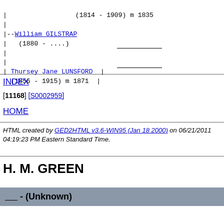| (1814 - 1909) m 1835
|
|--William GILSTRAP
|   (1880 - ....)
|
|
| Thursey Jane LUNSFORD |
  (1856 - 1915) m 1871  |
INDEX
[11168] [S0002959]
HOME
HTML created by GED2HTML v3.6-WIN95 (Jan 18 2000) on 06/21/2011 04:19:23 PM Eastern Standard Time.
H. M. GREEN
_____ - (Unknown)